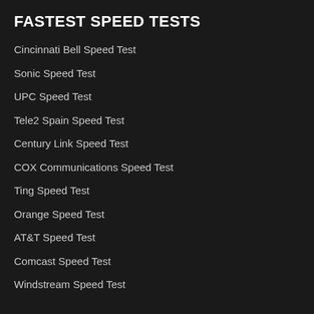FASTEST SPEED TESTS
Cincinnati Bell Speed Test
Sonic Speed Test
UPC Speed Test
Tele2 Spain Speed Test
Century Link Speed Test
COX Communications Speed Test
Ting Speed Test
Orange Speed Test
AT&T Speed Test
Comcast Speed Test
Windstream Speed Test
MORE SPEED TESTS